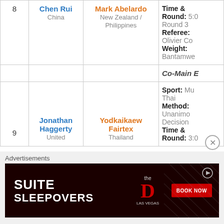| # | Fighter 1 | Fighter 2 | Details |
| --- | --- | --- | --- |
| 8 | Chen Rui
China | Mark Abelardo
New Zealand / Philippines | Time & Round: 5:00 Round 3
Referee: Olivier Co...
Weight: Bantamwe... |
|  |  |  | Co-Main E... |
| 9 | Jonathan Haggerty
United... | Yodkaikaew Fairtex
Thailand | Sport: Muay Thai
Method: Unanimous Decision
Time & Round: 3:0... |
Advertisements
[Figure (screenshot): Advertisement banner for Suite Sleepovers at The D Las Vegas with Book Now button]